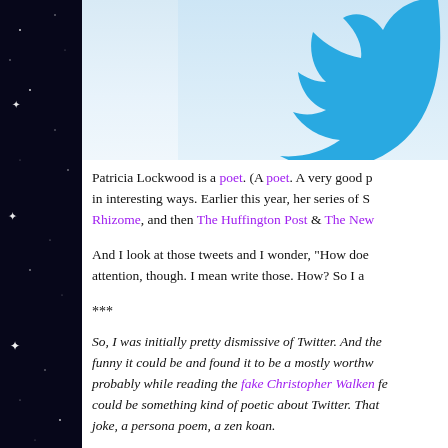[Figure (illustration): Twitter bird logo on a light blue/white gradient background banner]
Patricia Lockwood is a poet. (A poet. A very good p in interesting ways. Earlier this year, her series of S Rhizome, and then The Huffington Post & The New
And I look at those tweets and I wonder, "How doe attention, though. I mean write those. How? So I a
***
So, I was initially pretty dismissive of Twitter. And the funny it could be and found it to be a mostly worthw probably while reading the fake Christopher Walken fe could be something kind of poetic about Twitter. That joke, a persona poem, a zen koan.